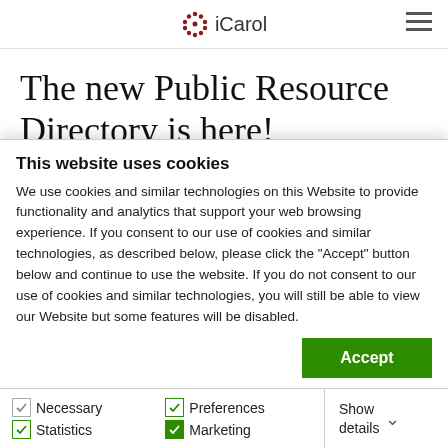iCarol
The new Public Resource Directory is here!
July 6, 2017
One of the greatest challenges for
This website uses cookies
We use cookies and similar technologies on this Website to provide functionality and analytics that support your web browsing experience.  If you consent to our use of cookies and similar technologies, as described below, please click the "Accept" button below and continue to use the website. If you do not consent to our use of cookies and similar technologies, you will still be able to view our Website but some features will be disabled.
Accept
Necessary  Preferences  Statistics  Marketing  Show details